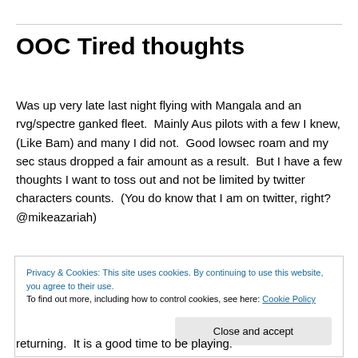OOC Tired thoughts
Was up very late last night flying with Mangala and an rvg/spectre ganked fleet.  Mainly Aus pilots with a few I knew, (Like Bam) and many I did not.  Good lowsec roam and my sec staus dropped a fair amount as a result.  But I have a few thoughts I want to toss out and not be limited by twitter characters counts.  (You do know that I am on twitter, right?  @mikeazariah)
Privacy & Cookies: This site uses cookies. By continuing to use this website, you agree to their use.
To find out more, including how to control cookies, see here: Cookie Policy
returning.  It is a good time to be playing.